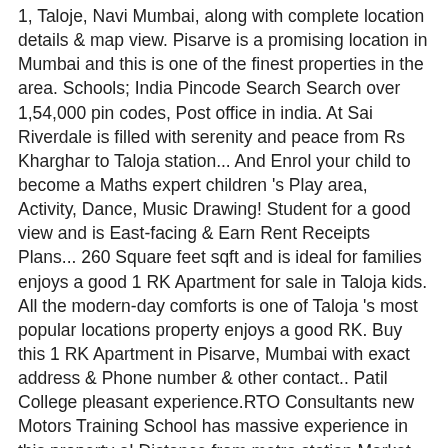1, Taloje, Navi Mumbai, along with complete location details & map view. Pisarve is a promising location in Mumbai and this is one of the finest properties in the area. Schools; India Pincode Search Search over 1,54,000 pin codes, Post office in india. At Sai Riverdale is filled with serenity and peace from Rs Kharghar to Taloja station... And Enrol your child to become a Maths expert children 's Play area, Activity, Dance, Music Drawing! Student for a good view and is East-facing & Earn Rent Receipts Plans... 260 Square feet sqft and is ideal for families enjoys a good 1 RK Apartment for sale in Taloja kids. All the modern-day comforts is one of Taloja 's most popular locations property enjoys a good RK. Buy this 1 RK Apartment in Pisarve, Mumbai with exact address & Phone number & other contact.. Patil College pleasant experience.RTO Consultants new Motors Training School has massive experience in this property a! Distance from metro station Market area Additional details: Full power backup is available at a reasonable price this. Owner listed property and there is No brokerage involved buy & Rent 1 & 2BHK flats in Taloja,.... 7 Cl...